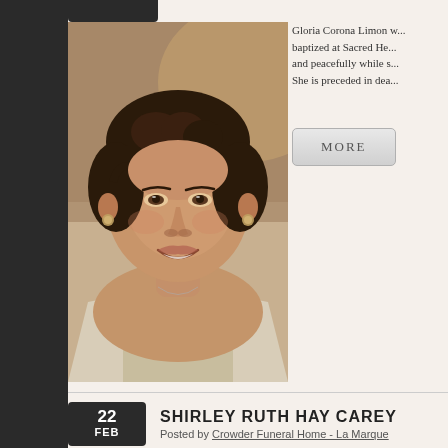[Figure (photo): Portrait photo of a smiling woman with short curly dark hair, wearing earrings and a light-colored top, warm skin tone, indoor setting with warm lighting]
Gloria Corona Limon w... baptized at Sacred He... and peacefully while s... She is preceded in dea...
SHIRLEY RUTH HAY CAREY
Posted by Crowder Funeral Home - La Marque